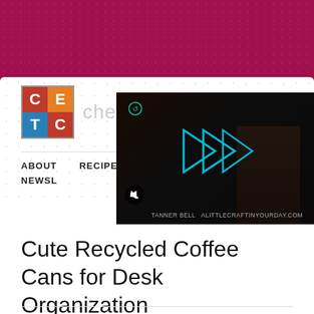[Figure (illustration): Crimson/dark pink banner header with dot pattern texture]
[Figure (logo): CE/TC logo grid with colored squares and text 'cheap eats & thrifty crafts']
ABOUT   RECIPES   NEWSLE...
[Figure (screenshot): Dark video player overlay showing a person with play button triangles in blue/cyan, mute icon, reload icon, and credit text: TANNER BELL  ALITTLECRAFTINYOURDAY.COM]
Cute Recycled Coffee Cans for Desk Organization